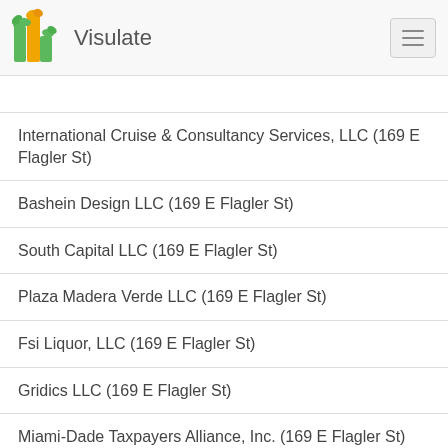Visulate
International Cruise & Consultancy Services, LLC (169 E Flagler St)
Bashein Design LLC (169 E Flagler St)
South Capital LLC (169 E Flagler St)
Plaza Madera Verde LLC (169 E Flagler St)
Fsi Liquor, LLC (169 E Flagler St)
Gridics LLC (169 E Flagler St)
Miami-Dade Taxpayers Alliance, Inc. (169 E Flagler St)
Project Zechariah: Nicaraguan Children Foundation, Inc. (169 E Flagler St)